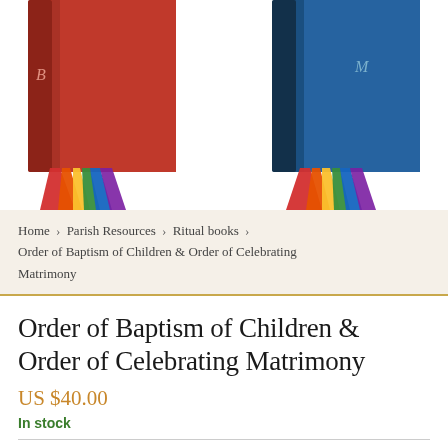[Figure (photo): Two liturgical books side by side — one with a red cover on the left and one with a blue cover on the right, both with colorful ribbon bookmarks (red, orange, yellow, green, blue) fanning out from the bottom.]
Home > Parish Resources > Ritual books > Order of Baptism of Children & Order of Celebrating Matrimony
Order of Baptism of Children & Order of Celebrating Matrimony
US $40.00
In stock
SAVE OVER 33%—SPECIAL BUNDLE OFFER